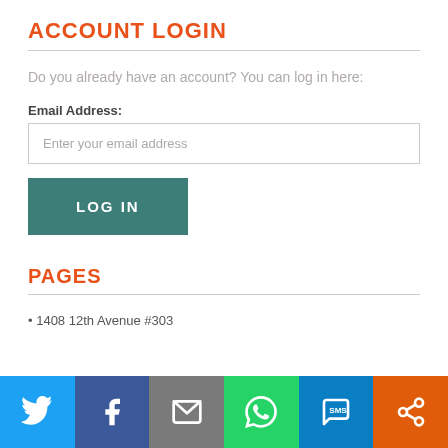ACCOUNT LOGIN
Do you already have an account? You can log in here:
Email Address:
Enter your email address
LOG IN
PAGES
1408 12th Avenue #303
[Figure (infographic): Social sharing bar with icons for Twitter, Facebook, Email, WhatsApp, SMS, and Share]